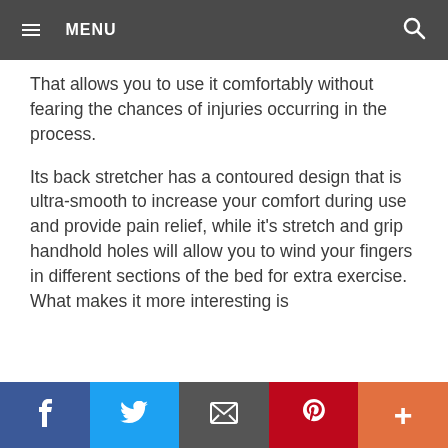≡  MENU
That allows you to use it comfortably without fearing the chances of injuries occurring in the process.
Its back stretcher has a contoured design that is ultra-smooth to increase your comfort during use and provide pain relief, while it's stretch and grip handhold holes will allow you to wind your fingers in different sections of the bed for extra exercise. What makes it more interesting is